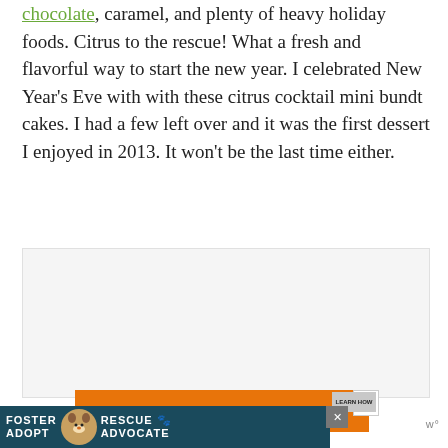chocolate, caramel, and plenty of heavy holiday foods. Citrus to the rescue! What a fresh and flavorful way to start the new year. I celebrated New Year's Eve with with these citrus cocktail mini bundt cakes. I had a few left over and it was the first dessert I enjoyed in 2013. It won't be the last time either.
[Figure (photo): Image placeholder area (white/light gray box)]
[Figure (screenshot): Advertisement banner: orange bar with 'You can help hungry kids' and NO KID HUNGRY branding with LEARN HOW button, and a dark teal Foster/Rescue/Adopt/Advocate ad with a beagle dog photo and close button]